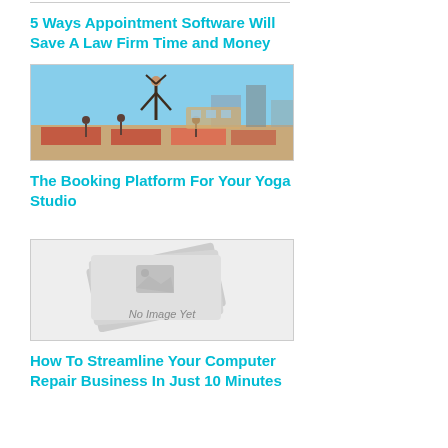5 Ways Appointment Software Will Save A Law Firm Time and Money
[Figure (photo): People doing yoga outdoors on rooftop or terrace, with one person doing a headstand]
The Booking Platform For Your Yoga Studio
[Figure (photo): No Image Yet placeholder with stacked card graphic]
How To Streamline Your Computer Repair Business In Just 10 Minutes